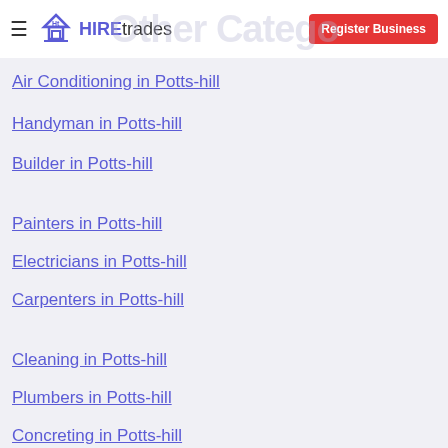HIREtrades — Other Categories — Register Business
Air Conditioning in Potts-hill
Handyman in Potts-hill
Builder in Potts-hill
Painters in Potts-hill
Electricians in Potts-hill
Carpenters in Potts-hill
Cleaning in Potts-hill
Plumbers in Potts-hill
Concreting in Potts-hill